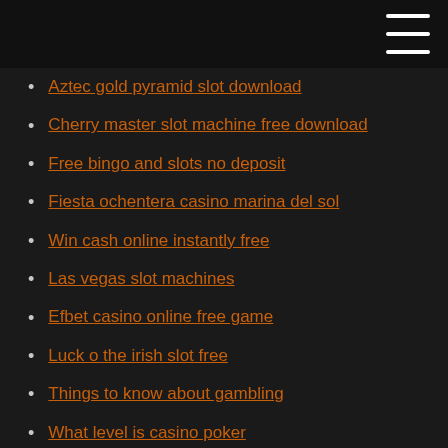Aztec gold pyramid slot download
Cherry master slot machine free download
Free bingo and slots no deposit
Fiesta ochentera casino marina del sol
Win cash online instantly free
Las vegas slot machines
Efbet casino online free game
Luck o the irish slot free
Things to know about gambling
What level is casino poker
Superman game free online
Online blackjack for money ny
Caribbean stud poker rules
Prism casino no deposit bonus blog